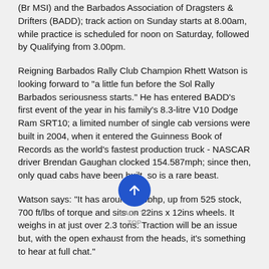(BFMSI) and the Barbados Association of Dragsters & Drifters (BADD); track action on Sunday starts at 8.00am, while practice is scheduled for noon on Saturday, followed by Qualifying from 3.00pm.
Reigning Barbados Rally Club Champion Rhett Watson is looking forward to "a little fun before the Sol Rally Barbados seriousness starts." He has entered BADD's first event of the year in his family's 8.3-litre V10 Dodge Ram SRT10; a limited number of single cab versions were built in 2004, when it entered the Guinness Book of Records as the world's fastest production truck - NASCAR driver Brendan Gaughan clocked 154.587mph; since then, only quad cabs have been built, so is a rare beast.
Watson says: "It has around 650bhp, up from 525 stock, 700 ft/lbs of torque and sits on 22ins x 12ins wheels. It weighs in at just over 2.3 tons. Traction will be an issue but, with the open exhaust from the heads, it's something to hear at full chat."
Roger Mayers (Ford Focus) was confirmed by BADD earlier this week, the growing entry list now also including the Mitsubishis of Matthew 'DMZ' Forde (Lancer) and Sherlock Layne (Colt) and brothers Mark and Sean Maloney in Audi A4 and Mini respectively.
In the Suzuki Challenge Series, Swift Cup points leader Mark